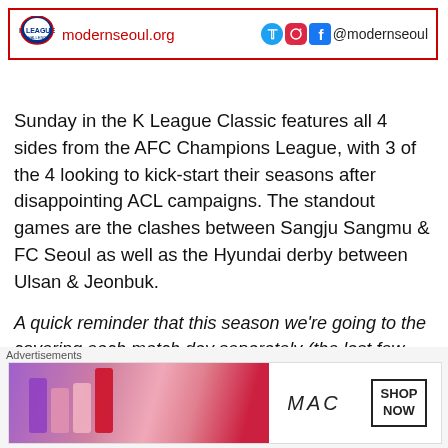[Figure (other): Modern Seoul website banner with K League Challenge logo, modernseoul.org URL in red, and social media icons (Twitter, Instagram, Facebook) with @modernseoul handle, all within a red border]
Sunday in the K League Classic features all 4 sides from the AFC Champions League, with 3 of the 4 looking to kick-start their seasons after disappointing ACL campaigns. The standout games are the clashes between Sangju Sangmu & FC Seoul as well as the Hyundai derby between Ulsan & Jeonbuk.
A quick reminder that this season we're going to the covering each match day separately (the last few seasons it's been each round). Making the posts a little shorter and
Advertisements
[Figure (photo): MAC cosmetics advertisement banner showing lipsticks in purple, pink and red shades with MAC logo and SHOP NOW button]